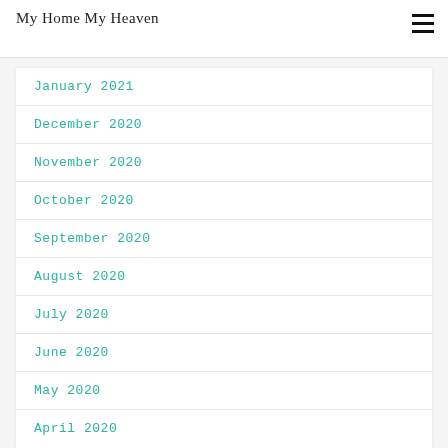My Home My Heaven
January 2021
December 2020
November 2020
October 2020
September 2020
August 2020
July 2020
June 2020
May 2020
April 2020